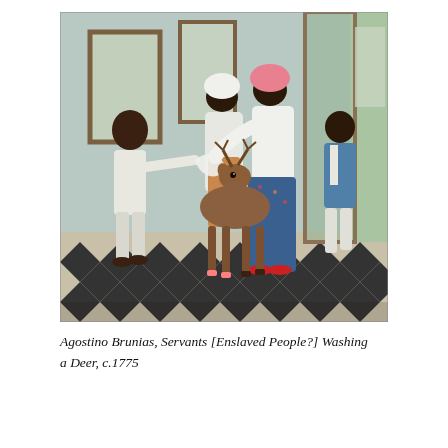[Figure (photo): A painting by Agostino Brunias depicting four Black figures in an interior room with a black-and-white checkered floor. A young boy in white clothing reaches toward a deer, while two women — one wearing a white head wrap and one wearing a pink head wrap with a blue floral skirt and white blouse — stand near the deer. A fourth figure, a man in a blue jacket, stands in a doorway to the right. The room has tall windows and light blue-green walls.]
Agostino Brunias, Servants [Enslaved People?] Washing a Deer, c.1775